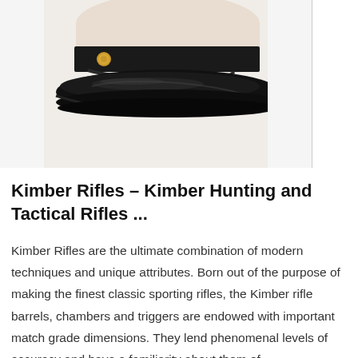[Figure (photo): Bottom portion of a black military/police-style cap with a shiny black brim and gold button, photographed against a light background.]
Kimber Rifles – Kimber Hunting and Tactical Rifles ...
Kimber Rifles are the ultimate combination of modern techniques and unique attributes. Born out of the purpose of making the finest classic sporting rifles, the Kimber rifle barrels, chambers and triggers are endowed with important match grade dimensions. They lend phenomenal levels of accuracy and have a familiarity about them of